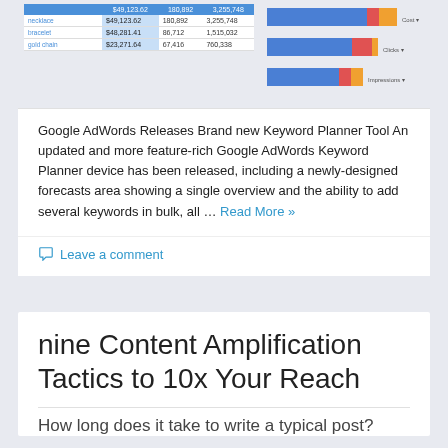[Figure (screenshot): Screenshot of a Google AdWords table with keyword data and horizontal bar chart with blue, red, and orange segments]
Google AdWords Releases Brand new Keyword Planner Tool An updated and more feature-rich Google AdWords Keyword Planner device has been released, including a newly-designed forecasts area showing a single overview and the ability to add several keywords in bulk, all … Read More »
Leave a comment
nine Content Amplification Tactics to 10x Your Reach
How long does it take to write a typical post?